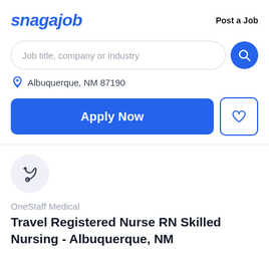snagajob    Post a Job
[Figure (screenshot): Search bar with placeholder text 'Job title, company or industry' and a blue circular search button]
Albuquerque, NM 87190
Apply Now
[Figure (illustration): Stethoscope icon in a light blue-grey circle, representing OneStaff Medical company logo]
OneStaff Medical
Travel Registered Nurse RN Skilled Nursing - Albuquerque, NM